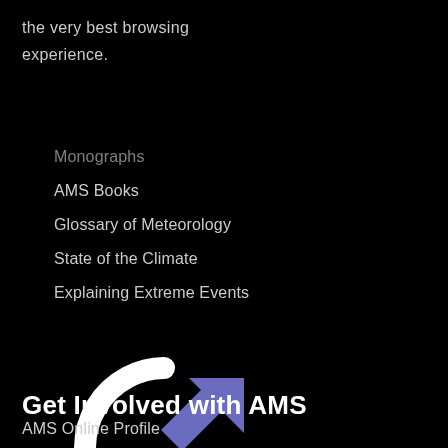the very best browsing experience.
Monographs
AMS Books
Glossary of Meteorology
State of the Climate
Explaining Extreme Events
[Figure (logo): CHORUS logo — circular refresh arrow icon with a purple/blue arrow overlay, and the text CHORUS below]
Get Involved with AMS
AMS Online Profile
Publish
Benefits of Publishing with AMS